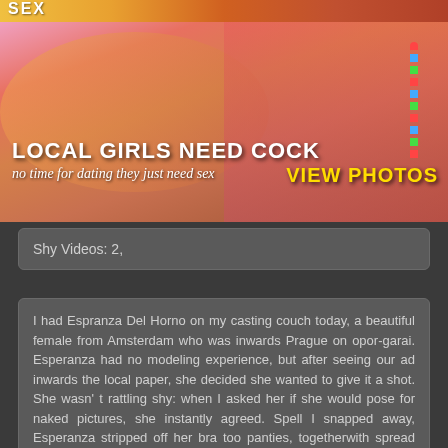[Figure (photo): Adult content banner image with colorful background, overlaid text reading LOCAL GIRLS NEED COCK / no time for dating they just need sex and VIEW PHOTOS]
Shy Videos: 2,
I had Espranza Del Horno on my casting couch today, a beautiful female from Amsterdam who was inwards Prague on opor-garai. Esperanza had no modeling experience, but after seeing our ad inwards the local paper, she decided she wanted to give it a shot. She wasn' t rattling shy: when I asked her if she would pose for naked pictures, she instantly agreed. Spell I snapped away, Esperanza stripped off her bra too panties, togetherwith spread her tight asshole for the videocamera. Her shirt revealed some nice perky tits, so I asked her if she would give me a blowjob. Esperanza was a existent slut, inadditionto took my cock right into her mouth! I fucked her all over the studio too my businessoffice, andthen came on her tight cunt.